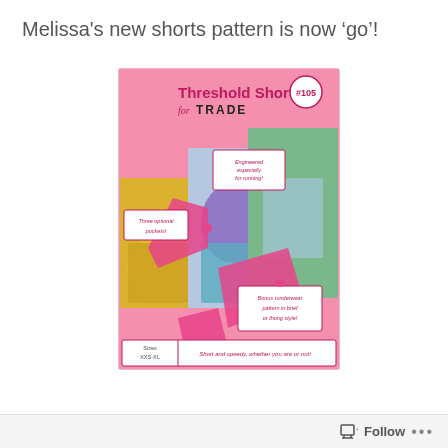Melissa's new shorts pattern is now ‘go’!
[Figure (photo): Product package/cover image for 'Threshold Shorts for TRADE #105' sewing pattern. Pink background with photos of three women wearing running shorts in yellow, purple/blue, and light blue. Text callouts: 'Engineered especially for running!', 'Three optional pockets!', 'Bonus runderwear pattern in brief or thong style!'. Bottom bar: 'Sizes XXS-XL' and tagline 'Short and speedy, whether you are or not!']
Follow ...